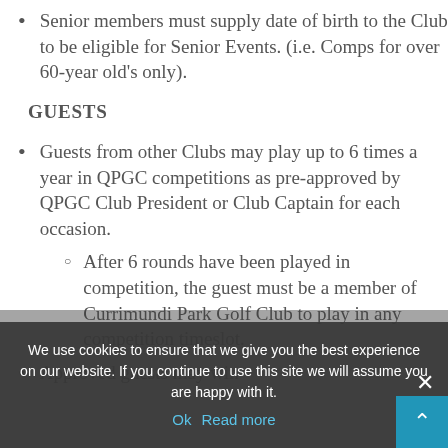Senior members must supply date of birth to the Club to be eligible for Senior Events. (i.e. Comps for over 60-year old's only).
GUESTS
Guests from other Clubs may play up to 6 times a year in QPGC competitions as pre-approved by QPGC Club President or Club Captain for each occasion.
After 6 rounds have been played in competition, the guest must be a member of Currimundi Park Golf Club to play in any competition timeslot.
Approved guests may win
We use cookies to ensure that we give you the best experience on our website. If you continue to use this site we will assume you are happy with it.